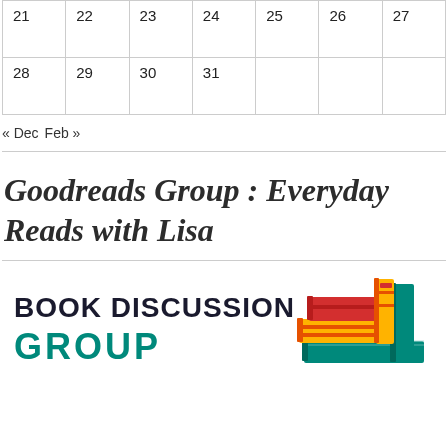| 21 | 22 | 23 | 24 | 25 | 26 | 27 |
| 28 | 29 | 30 | 31 |  |  |  |
« Dec  Feb »
Goodreads Group : Everyday Reads with Lisa
[Figure (illustration): Book Discussion Group illustration with stacked colorful books on the right and text 'BOOK DISCUSSION GROUP' in teal/dark on the left]